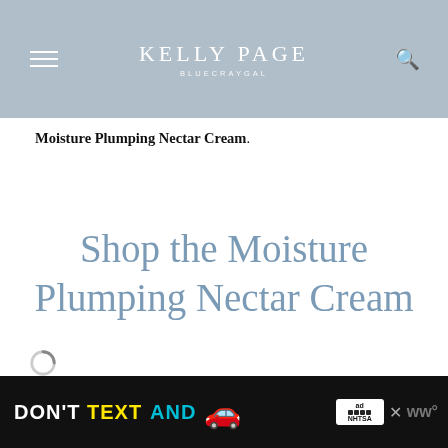KELLY PAGE | BLUECRAYGAL
Moisture Plumping Nectar Cream.
Shop the Moisture Plumping Nectar Cream
[Figure (other): Loading spinner icon]
DON'T TEXT AND [car emoji] — ad banner with NHTSA logo